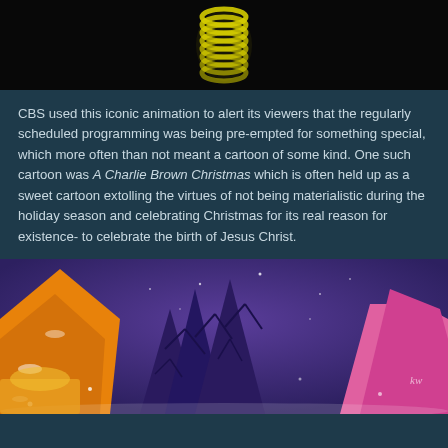[Figure (photo): Dark background with a yellow glowing spring/coil animation object from a CBS broadcast transition animation]
CBS used this iconic animation to alert its viewers that the regularly scheduled programming was being pre-empted for something special, which more often than not meant a cartoon of some kind. One such cartoon was A Charlie Brown Christmas which is often held up as a sweet cartoon extolling the virtues of not being materialistic during the holiday season and celebrating Christmas for its real reason for existence- to celebrate the birth of Jesus Christ.
[Figure (illustration): A Charlie Brown Christmas cartoon scene with colorful stylized trees (orange, purple/blue, pink) against a purple starry sky with snow]